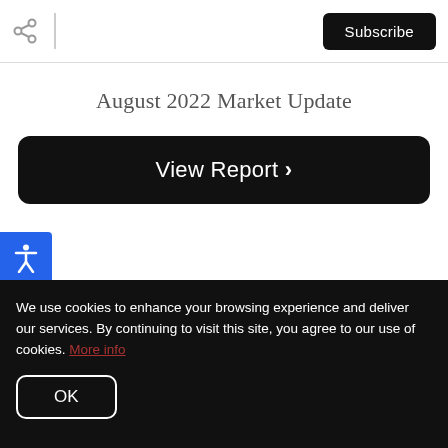Subscribe
August 2022 Market Update
View Report ›
[Figure (other): Accessibility icon button (blue background with person figure)]
We use cookies to enhance your browsing experience and deliver our services. By continuing to visit this site, you agree to our use of cookies. More info
OK